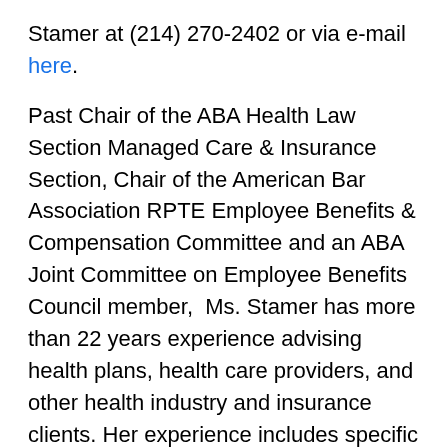Stamer at (214) 270-2402 or via e-mail here. Past Chair of the ABA Health Law Section Managed Care & Insurance Section, Chair of the American Bar Association RPTE Employee Benefits & Compensation Committee and an ABA Joint Committee on Employee Benefits Council member,  Ms. Stamer has more than 22 years experience advising health plans, health care providers, and other health industry and insurance clients. Her experience includes specific experience assisting Medicare, Medicaid and other health plan sponsors, administrators,  or administrative services providers about contracting, compliance, coverage and other matters.    A popular lecturer and widely published author on health industry matters, Ms. Stamer also conducts compliance and other training on Medicare Advantage and other contracting, compliance matters as well as other health